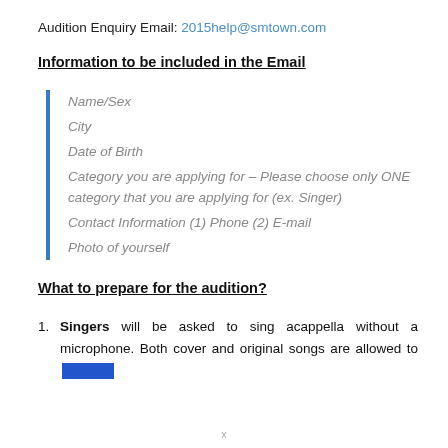Audition Enquiry Email: 2015help@smtown.com
Information to be included in the Email
Name/Sex
City
Date of Birth
Category you are applying for – Please choose only ONE category that you are applying for (ex. Singer)
Contact Information (1) Phone (2) E-mail
Photo of yourself
What to prepare for the audition?
Singers will be asked to sing acappella without a microphone. Both cover and original songs are allowed to [redacted]
x